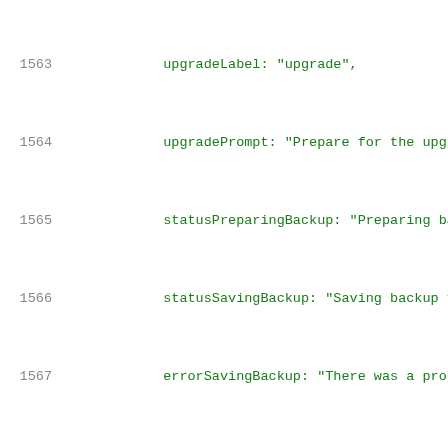[Figure (screenshot): Source code editor showing JavaScript/JSON configuration code, lines 1563-1584, with line numbers in gray and code in green monospace font on white background.]